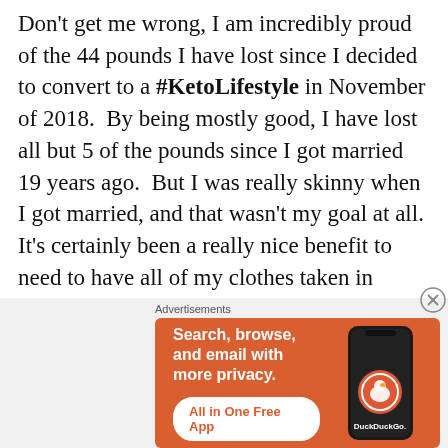Don't get me wrong, I am incredibly proud of the 44 pounds I have lost since I decided to convert to a #KetoLifestyle in November of 2018.  By being mostly good, I have lost all but 5 of the pounds since I got married 19 years ago.  But I was really skinny when I got married, and that wasn't my goal at all.  It's certainly been a really nice benefit to need to have all of my clothes taken in though!  My goals actually were:
[Figure (screenshot): DuckDuckGo advertisement banner with orange background. Text reads: 'Search, browse, and email with more privacy. All in One Free App'. Shows a phone image with DuckDuckGo logo and name.]